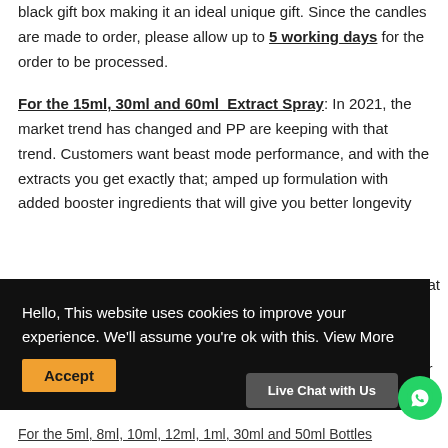black gift box making it an ideal unique gift. Since the candles are made to order, please allow up to 5 working days for the order to be processed.
For the 15ml, 30ml and 60ml Extract Spray: In 2021, the market trend has changed and PP are keeping with that trend. Customers want beast mode performance, and with the extracts you get exactly that; amped up formulation with added booster ingredients that will give you better longevity
Hello, This website uses cookies to improve your experience. We'll assume you're ok with this. View More Accept
For the 5ml, 8ml, 10ml, 12ml, 1ml, 30ml and 50ml Bottles